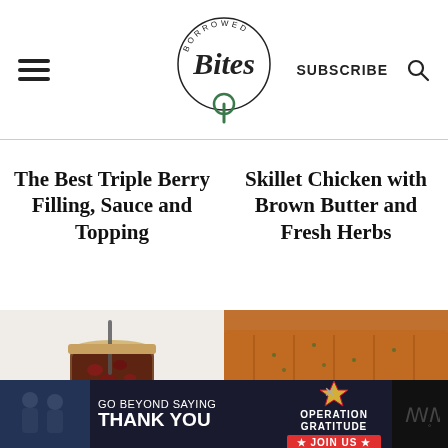Borrowed Bites — SUBSCRIBE
The Best Triple Berry Filling, Sauce and Topping
Skillet Chicken with Brown Butter and Fresh Herbs
[Figure (photo): A mason jar filled with dark berry filling with a spoon in it]
[Figure (photo): Skillet chicken with brown butter and fresh herbs on a white plate]
[Figure (other): Advertisement banner: GO BEYOND SAYING THANK YOU — Operation Gratitude JOIN US]